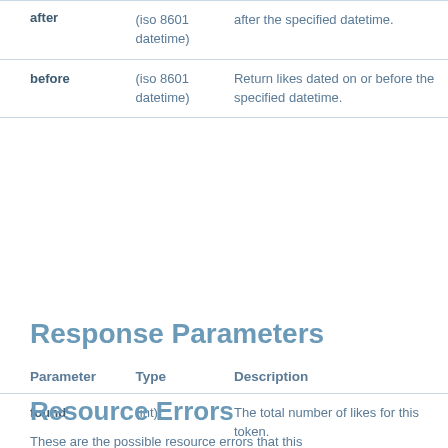| after | (iso 8601 datetime) | after the specified datetime. |
| before | (iso 8601 datetime) | Return likes dated on or before the specified datetime. |
Response Parameters
| Parameter | Type | Description |
| --- | --- | --- |
| found | (int) | The total number of likes for this token. |
| likes | (array) | An array of likes for this token. |
Resource Errors
These are the possible resource errors that this